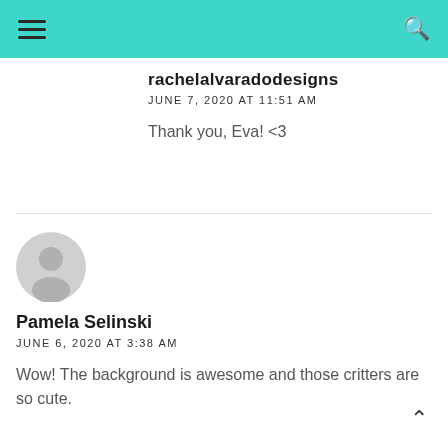[Figure (screenshot): Teal navigation bar with hamburger menu icon on left and search icon on right]
rachelalvaradodesigns
JUNE 7, 2020 AT 11:51 AM
Thank you, Eva! <3
[Figure (illustration): Gray default user avatar circle icon]
Pamela Selinski
JUNE 6, 2020 AT 3:38 AM
Wow! The background is awesome and those critters are so cute.